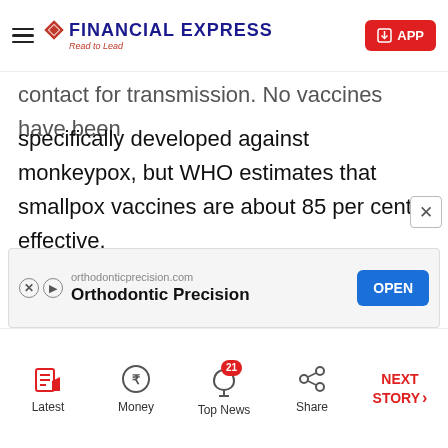FINANCIAL EXPRESS — Read to Lead
contact for transmission. No vaccines have been specifically developed against monkeypox, but WHO estimates that smallpox vaccines are about 85 per cent effective.
She said countries with vaccine supplies could consider them for those at high risk of the disease, like close contacts of patients or health workers, but that monkeypox could mostly be controlled by isolating contacts and continued epidemiological investigation...
[Figure (other): Advertisement banner for Orthodontic Precision from orthodonticprecision.com with OPEN button]
Latest | Money | Top News (21) | Share | NEXT STORY